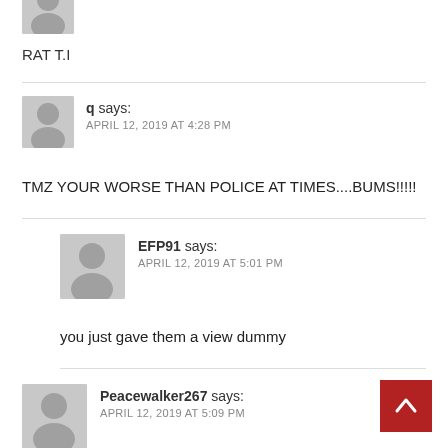[Figure (illustration): Gray avatar placeholder icon, top of page, partially cropped]
RAT T.I
[Figure (illustration): Gray avatar placeholder icon for user 'q']
q says:
APRIL 12, 2019 AT 4:28 PM
TMZ YOUR WORSE THAN POLICE AT TIMES....BUMS!!!!!
[Figure (illustration): Gray avatar placeholder icon for user 'EFP91']
EFP91 says:
APRIL 12, 2019 AT 5:01 PM
you just gave them a view dummy
[Figure (illustration): Gray avatar placeholder icon for user 'Peacewalker267']
Peacewalker267 says:
APRIL 12, 2019 AT 5:09 PM